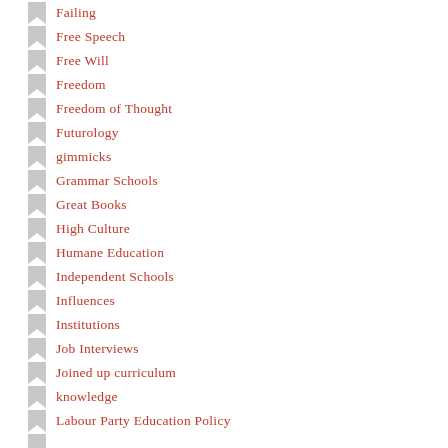Failing
Free Speech
Free Will
Freedom
Freedom of Thought
Futurology
gimmicks
Grammar Schools
Great Books
High Culture
Humane Education
Independent Schools
Influences
Institutions
Job Interviews
Joined up curriculum
knowledge
Labour Party Education Policy
Liberal Arts